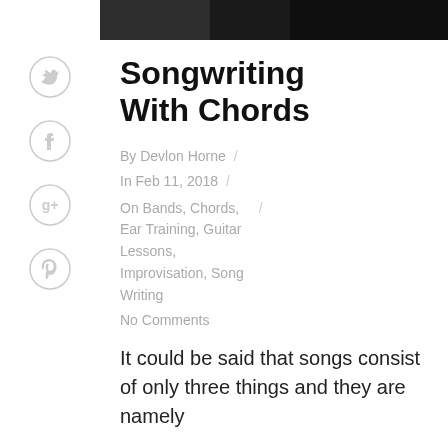[Figure (photo): Dark/black photograph strip at the top of the article, likely showing hands on a guitar or similar musical instrument]
[Figure (illustration): Twitter bird icon in a circle, social share button]
[Figure (illustration): Facebook 'f' icon in a circle, social share button]
[Figure (illustration): Google+ icon in a circle, social share button]
[Figure (illustration): Pinterest 'p' icon in a circle, social share button]
Songwriting With Chords
By Devlon Horne /
In Feb 11, 2018 /
On Bands, Chords,    / Ear Training, Guitar Lessons, Improvisation, Song Writing
No Comments
It could be said that songs consist of only three things and they are namely